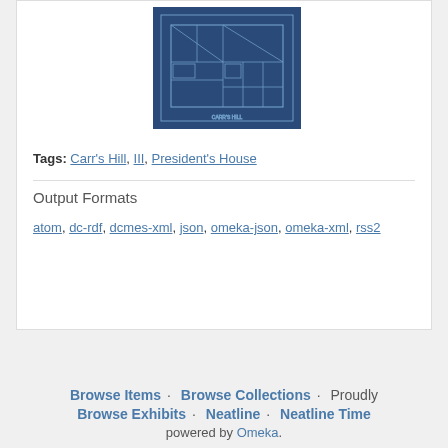[Figure (schematic): Blueprint/architectural drawing of Carr's Hill President's House, shown as a white line drawing on a dark blue background]
Tags: Carr's Hill, III, President's House
Output Formats
atom, dc-rdf, dcmes-xml, json, omeka-json, omeka-xml, rss2
Browse Items · Browse Collections · Proudly Browse Exhibits · Neatline · Neatline Time powered by Omeka.